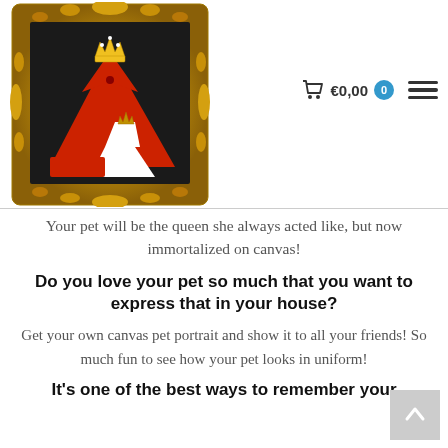[Figure (logo): Ornate gold picture frame with black background containing a stylized red dog wearing a gold crown and a smaller white cat/dog, serving as a pet portrait company logo]
[Figure (infographic): Shopping cart icon with euro price €0,00 and blue badge showing 0, plus hamburger menu icon]
Your pet will be the queen she always acted like, but now immortalized on canvas!
Do you love your pet so much that you want to express that in your house?
Get your own canvas pet portrait and show it to all your friends! So much fun to see how your pet looks in uniform!
It's one of the best ways to remember your